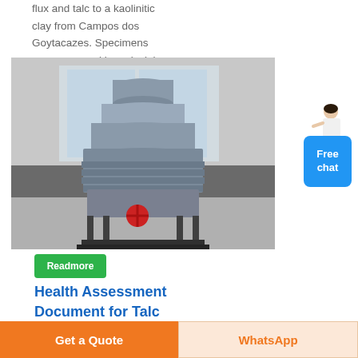flux and talc to a kaolinitic clay from Campos dos Goytacazes. Specimens were prepared by uniaxial
[Figure (photo): Large industrial cone crusher machine photographed in a factory/warehouse setting. The machine is grey metal, sitting on a black steel frame, with a red valve/wheel visible at the bottom. The background shows a grey corrugated metal wall and windows.]
Free chat
Readmore
Health Assessment Document for Talc
Get a Quote
WhatsApp